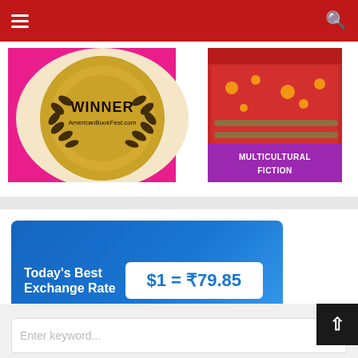Navigation bar with hamburger menu and search icon
[Figure (illustration): American Book Festival Winner award badge (gold laurel wreath medallion with 'WINNER AmericanBookFest.com' text) next to a book cover with decorative multicultural pattern and a purple banner reading 'MULTICULTURAL FICTION']
[Figure (infographic): CompareRemit advertisement banner showing Today's Best Exchange Rate: $1 = ₹79.85, with CompareRemit logo and date 2022-08-23 PDT | *T&C Applies]
Enter keyword...